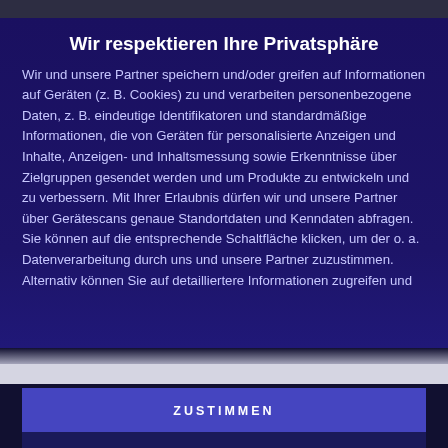Wir respektieren Ihre Privatsphäre
Wir und unsere Partner speichern und/oder greifen auf Informationen auf Geräten (z. B. Cookies) zu und verarbeiten personenbezogene Daten, z. B. eindeutige Identifikatoren und standardmäßige Informationen, die von Geräten für personalisierte Anzeigen und Inhalte, Anzeigen- und Inhaltsmessung sowie Erkenntnisse über Zielgruppen gesendet werden und um Produkte zu entwickeln und zu verbessern. Mit Ihrer Erlaubnis dürfen wir und unsere Partner über Gerätescans genaue Standortdaten und Kenndaten abfragen. Sie können auf die entsprechende Schaltfläche klicken, um der o. a. Datenverarbeitung durch uns und unsere Partner zuzustimmen. Alternativ können Sie auf detailliertere Informationen zugreifen und
ZUSTIMMEN
MEHR OPTIONEN